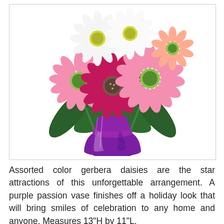[Figure (photo): A bouquet of assorted gerbera daisies — pink, white, and deep magenta/fuchsia — with green leaves, arranged in a shiny purple vase.]
Assorted color gerbera daisies are the star attractions of this unforgettable arrangement. A purple passion vase finishes off a holiday look that will bring smiles of celebration to any home and anyone. Measures 13"H by 11"L.